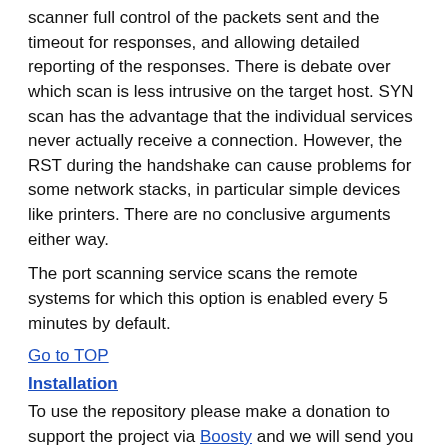scanner full control of the packets sent and the timeout for responses, and allowing detailed reporting of the responses. There is debate over which scan is less intrusive on the target host. SYN scan has the advantage that the individual services never actually receive a connection. However, the RST during the handshake can cause problems for some network stacks, in particular simple devices like printers. There are no conclusive arguments either way.
The port scanning service scans the remote systems for which this option is enabled every 5 minutes by default.
Go to TOP
Installation
To use the repository please make a donation to support the project via Boosty and we will send you the access credentials. Actual prices can be found here. Without voluntary contributions, we will not be able to carry out our work. Please donate as much as you can, every gift counts.
For Port scanner service installation you should run:
| line | code |
| --- | --- |
| 1 |  |